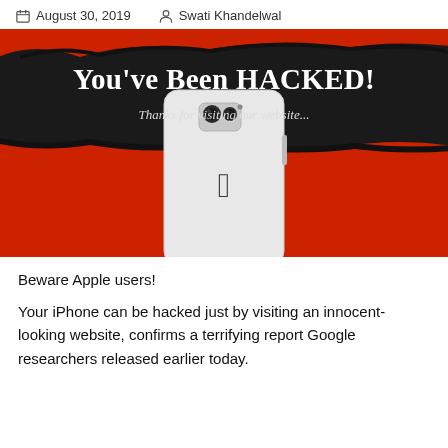August 30, 2019   Swati Khandelwal
[Figure (illustration): Red banner with black brush stroke background. Large white bold text reads 'You've Been HACKED!' with italic subtitle 'Thanks for visiting our website...' Below is an iPhone (white, rear view showing Apple logo and dual camera) centered on the red background.]
Beware Apple users!
Your iPhone can be hacked just by visiting an innocent-looking website, confirms a terrifying report Google researchers released earlier today.